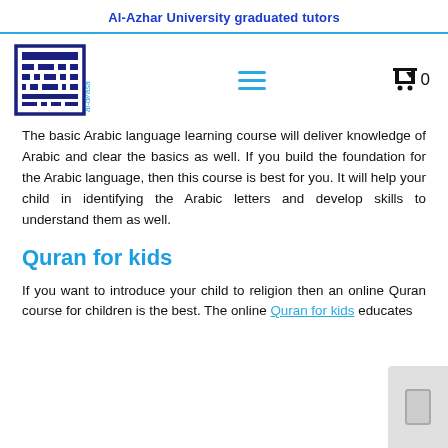Al-Azhar University graduated tutors
[Figure (logo): Al-Dirasa logo — stylized Arabic geometric pattern in dark navy blue with cyan text 'al-dirasa' beside it]
The basic Arabic language learning course will deliver knowledge of Arabic and clear the basics as well. If you build the foundation for the Arabic language, then this course is best for you. It will help your child in identifying the Arabic letters and develop skills to understand them as well.
Quran for kids
If you want to introduce your child to religion then an online Quran course for children is the best. The online Quran for kids educates